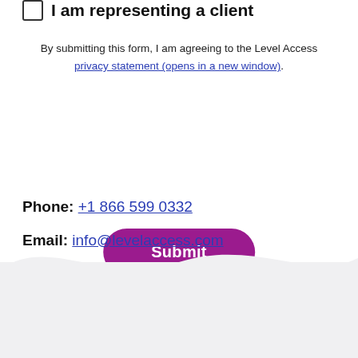I am representing a client
By submitting this form, I am agreeing to the Level Access privacy statement (opens in a new window).
Submit
Phone: +1 866 599 0332
Email: info@levelaccess.com